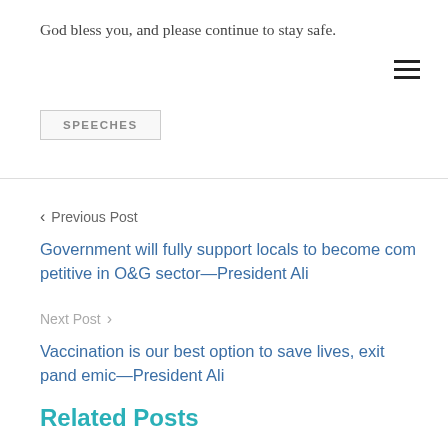God bless you, and please continue to stay safe.
SPEECHES
❮ Previous Post
Government will fully support locals to become competitive in O&G sector—President Ali
Next Post ❯
Vaccination is our best option to save lives, exit pandemic—President Ali
Related Posts